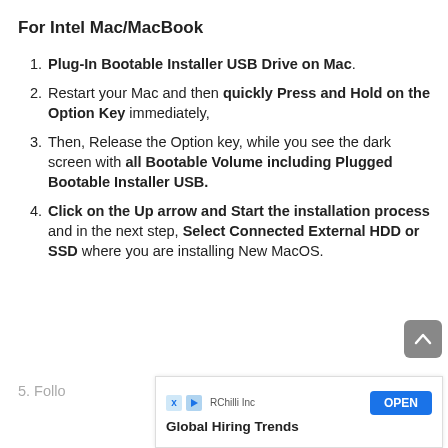For Intel Mac/MacBook
Plug-In Bootable Installer USB Drive on Mac.
Restart your Mac and then quickly Press and Hold on the Option Key immediately,
Then, Release the Option key, while you see the dark screen with all Bootable Volume including Plugged Bootable Installer USB.
Click on the Up arrow and Start the installation process and in the next step, Select Connected External HDD or SSD where you are installing New MacOS.
Follo... ccess
[Figure (other): Advertisement banner: RChilli Inc, Global Hiring Trends, with OPEN button]